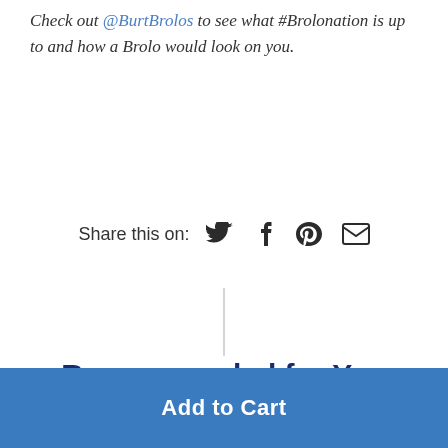Check out @BurtBrolos to see what #Brolonation is up to and how a Brolo would look on you.
Share this on:
[Figure (other): Social share icons: Twitter, Facebook, Pinterest, Email]
Recommended for You
Add to Cart